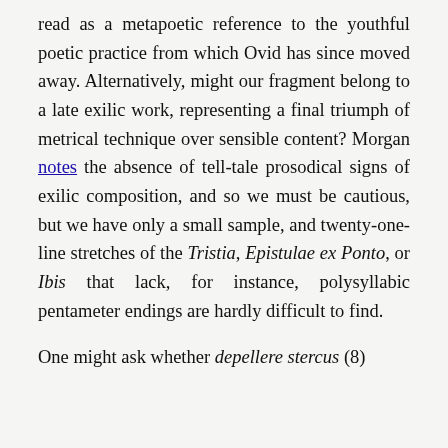read as a metapoetic reference to the youthful poetic practice from which Ovid has since moved away. Alternatively, might our fragment belong to a late exilic work, representing a final triumph of metrical technique over sensible content? Morgan notes the absence of tell-tale prosodical signs of exilic composition, and so we must be cautious, but we have only a small sample, and twenty-one-line stretches of the Tristia, Epistulae ex Ponto, or Ibis that lack, for instance, polysyllabic pentameter endings are hardly difficult to find.
One might ask whether depellere stercus (8)